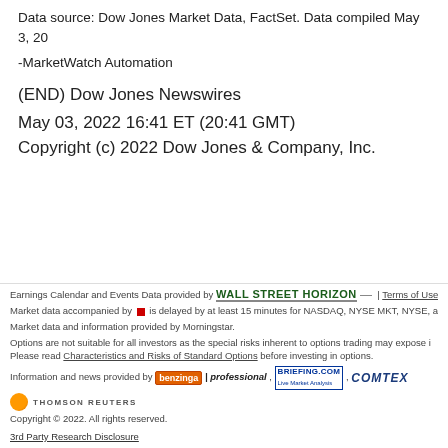Data source: Dow Jones Market Data, FactSet. Data compiled May 3, 20
-MarketWatch Automation
(END) Dow Jones Newswires
May 03, 2022 16:41 ET (20:41 GMT)
Copyright (c) 2022 Dow Jones & Company, Inc.
Earnings Calendar and Events Data provided by WALL STREET HORIZON | Terms of Use | © 2
Market data accompanied by red square is delayed by at least 15 minutes for NASDAQ, NYSE MKT, NYSE, and
Market data and information provided by Morningstar.
Options are not suitable for all investors as the special risks inherent to options trading may expose i Please read Characteristics and Risks of Standard Options before investing in options.
Information and news provided by Benzinga | professional, BRIEFING.COM, COMTEX
THOMSON REUTERS
Copyright © 2022. All rights reserved.
3rd Party Research Disclosure